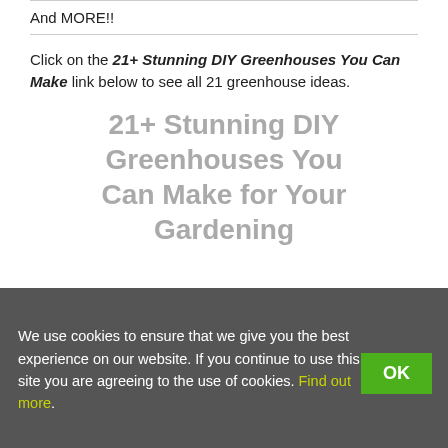And MORE!!
Click on the 21+ Stunning DIY Greenhouses You Can Make link below to see all 21 greenhouse ideas.
21+ Stunning DIY Greenhouses You Can Make for Your Gardening
[Figure (photo): Product image of Suncalc Sunlight Calculator packaging, blue and yellow.]
Suncalc Sunlight Calculator by Luster Leaf Review
We use cookies to ensure that we give you the best experience on our website. If you continue to use this site you are agreeing to the use of cookies. Find out more.